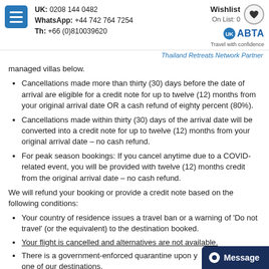UK: 0208 144 0482 | WhatsApp: +44 742 764 7254 | Th: +66 (0)810039620 | Wishlist On List: 0 | ABTA Travel with confidence | Thailand Retreats Network Partner
managed villas below.
Cancellations made more than thirty (30) days before the date of arrival are eligible for a credit note for up to twelve (12) months from your original arrival date OR a cash refund of eighty percent (80%).
Cancellations made within thirty (30) days of the arrival date will be converted into a credit note for up to twelve (12) months from your original arrival date – no cash refund.
For peak season bookings: If you cancel anytime due to a COVID-related event, you will be provided with twelve (12) months credit from the original arrival date – no cash refund.
We will refund your booking or provide a credit note based on the following conditions:
Your country of residence issues a travel ban or a warning of 'Do not travel' (or the equivalent) to the destination booked.
Your flight is cancelled and alternatives are not available.
There is a government-enforced quarantine upon y... from one of our destinations.